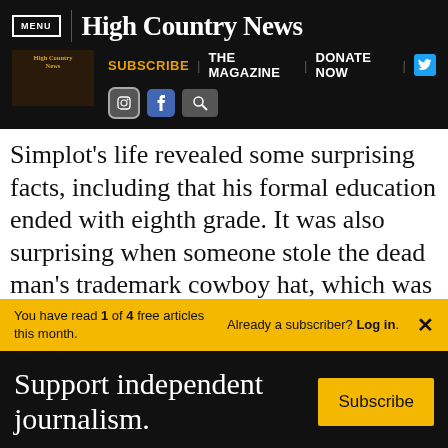MENU | High Country News
[Figure (screenshot): High Country News website navigation bar with logo thumbnail, SUBSCRIBE, THE MAGAZINE, DONATE NOW links, Twitter, Instagram, Facebook, and search icons]
Simplot's life revealed some surprising facts, including that his formal education ended with eighth grade. It was also surprising when someone stole the dead man's trademark cowboy hat, which was displayed in a
You have read 1 of 4 free articles this month. Already a subscriber? Log in. ×
Support independent journalism. Subscribe